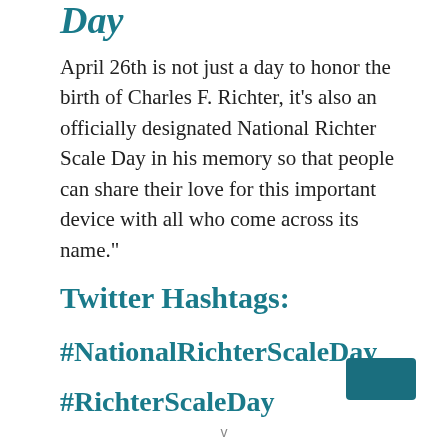Day
April 26th is not just a day to honor the birth of Charles F. Richter, it’s also an officially designated National Richter Scale Day in his memory so that people can share their love for this important device with all who come across its name.”
Twitter Hashtags:
#NationalRichterScaleDay
#RichterScaleDay